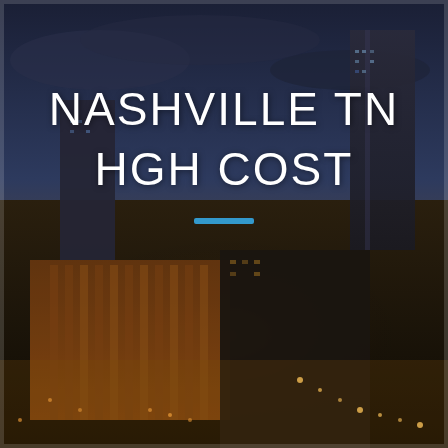[Figure (photo): Aerial night photograph of Nashville, TN skyline showing illuminated buildings, streets, and city infrastructure at dusk with dramatic sky.]
NASHVILLE TN HGH COST